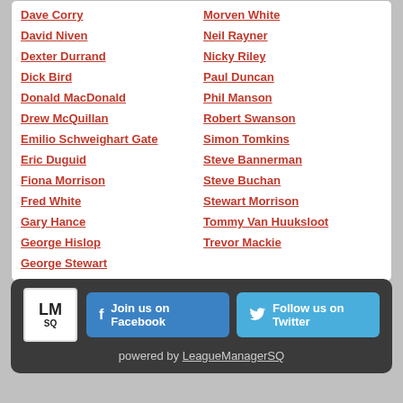Dave Corry
Morven White
David Niven
Neil Rayner
Dexter Durrand
Nicky Riley
Dick Bird
Paul Duncan
Donald MacDonald
Phil Manson
Drew McQuillan
Robert Swanson
Emilio Schweighart Gate
Simon Tomkins
Eric Duguid
Steve Bannerman
Fiona Morrison
Steve Buchan
Fred White
Stewart Morrison
Gary Hance
Tommy Van Huuksloot
George Hislop
Trevor Mackie
George Stewart
powered by LeagueManagerSQ